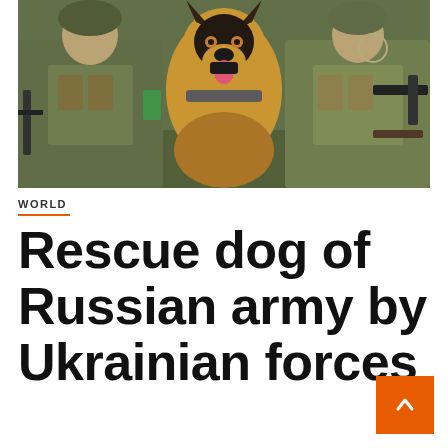[Figure (photo): Two soldiers in military camouflage gear sitting with a German Shepherd dog between them, outdoors on a green background]
WORLD
Rescue dog of Russian army by Ukrainian forces